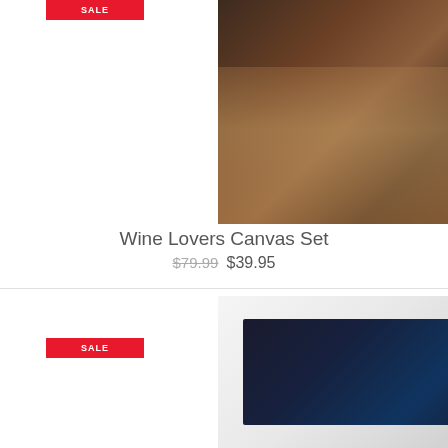[Figure (photo): Red SALE badge label in top left area of product listing]
[Figure (photo): Wine Lovers Canvas Set product image showing 5-panel canvas art with wine bottles, glasses, and barrels displayed on a dining table setting]
Wine Lovers Canvas Set
$79.99 $39.95
[Figure (photo): Red SALE badge for second product listing]
[Figure (photo): Astronaut canvas set product image showing 5-panel canvas art with astronaut on the moon holding a bottle, with Earth visible in background, displayed above a bed]